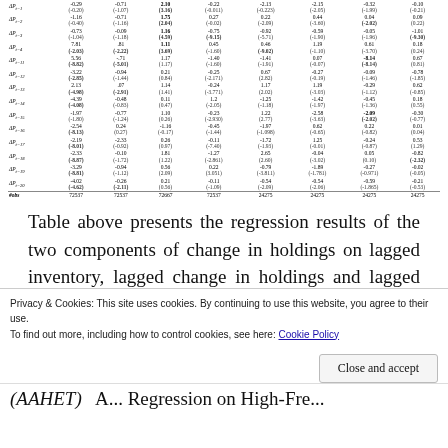|  | Col1 | Col2 | Col3 | Col4 | Col5 | Col6 | Col7 | Col8 |
| --- | --- | --- | --- | --- | --- | --- | --- | --- |
| ΔPt−1 | -0.29
(-0.20) | -0.71
(-1.07) | 2.10
(3.16) | -0.22
(-0.011) | -2.13
(-0.223) | -2.15
(-2.05) | -0.32
(-1.99) | -0.10
(-0.21) |
| ΔPt−2 | -1.16
(-0.40) | -0.71
(-1.16) | 1.75
(2.04) | 0.27
(-0.02) | 0.22
(-2.09) | 0.44
(-3.60) | 0.04
(-2.02) | 0.09
(0.22) |
| ΔPt−3 | -0.73
(-1.04) | -0.09
(-1.18) | 1.16
(4.59) | -0.75
(-9.15) | -0.92
(-5.71) | -0.59
(-1.90) | -0.05
(-1.96) | -1.01
(-9.30) |
| ΔPt−4 | 7.81
(-2.03) | .81
(-2.22) | 1.11
(3.69) | 0.45
(-1.60) | 0.46
(-9.02) | 1.19
(-1.10) | 0.61
(-3.70) | 0.18
(0.24) |
| ΔPt−11 | 5.56
(-8.82) | -.71
(-5.01) | 1.17
(1.17) | -1.40
(-1.60) | -1.41
(-1.91) | 0.07
(-0.07) | -8.14
(-8.14) | 0.67
(0.81) |
| ΔPt−12 | -3.22
(-2.85) | -0.94
(-1.44) | 0.21
(0.84) | -0.25
(-2.171) | 0.67
(2.82) | -0.27
(-0.19) | -0.09
(-1.46) | -0.78
(-1.85) |
| ΔPt−13 | 2.13
(-4.98) | .07
(-2.91) | 1.14
(1.41) | -0.24
(-3.771) | 1.17
(2.02) | 1.19
(-3.03) | -0.29
(-1.12) | 0.62
(-0.85) |
| ΔPt−14 | -4.39
(-4.08) | -0.48
(-0.83) | 0.11
(0.47) | 1.2
(-2.05) | -1.25
(-1.18) | -1.42
(-1.97) | -0.45
(-1.36) | 0.18
(0.55) |
| ΔPt−15 | -1.97
(-1.80) | -0.77
(-1.24) | 1.10
(0.26) | -0.23
(-2.930) | 1.22
(2.77) | -2.58
(-3.63) | -2.09
(-2.02) | -0.30
(-0.77) |
| ΔPt−16 | -2.54
(-8.13) | 0.24
(0.27) | -1.16
(-0.17) | -0.45
(-1.44) | -1.97
(-1.098) | 0.62
(-0.65) | 0.22
(-0.82) | 0.01
(0.04) |
| ΔPt−17 | -2.19
(-8.01) | -2.33
(-0.92) | 0.26
(0.97) | -0.11
(-7.40) | -1.72
(-1.93) | 1.25
(-0.01) | -0.24
(-0.87) | 0.53
(1.29) |
| ΔPt−18 | -2.33
(-8.87) | -0.10
(-1.72) | 1.81
(1.22) | -1.27
(-2.861) | 2.65
(2.60) | -0.04
(-3.02) | 0.05
(0.10) | -0.82
(-2.32) |
| ΔPt−19 | -3.29
(-8.81) | -0.94
(-1.12) | 0.56
(2.09) | 0.22
(3.051) | -0.79
(-3.811) | -1.89
(-1.781) | -0.27
(-0.971) | -0.02
(-0.05) |
| ΔPt−20 | -4.02
(-4.62) | -0.26
(-2.11) | 0.21
(0.56) | -0.11
(-1.09) | -0.54
(-2.09) | -0.54
(-2.06) | -0.59
(-1.865) | -0.21
(-0.53) |
| #obs | 72537 | 72537 | 72667 | 72537 | 24275 | 24275 | 24275 | 24275 |
| Adj–R² | 0.044 | 0.029 | 0.020 | 0.233 | 0.525 | 0.227 | 0.048 | 0.070 |
Table above presents the regression results of the two components of change in holdings on lagged inventory, lagged change in holdings and lagged price changes over one second intervals. Panel A and
Privacy & Cookies: This site uses cookies. By continuing to use this website, you agree to their use.
To find out more, including how to control cookies, see here: Cookie Policy
Close and accept
(AAHET) ... A... Regression on High-Frequency...